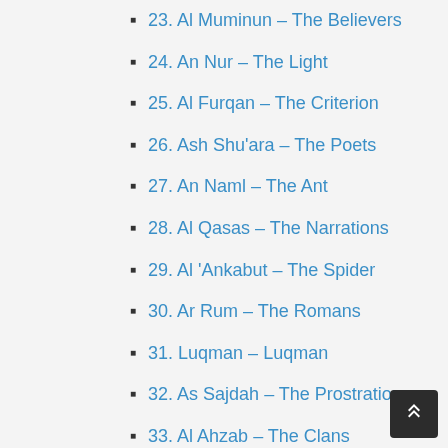23. Al Muminun – The Believers
24. An Nur – The Light
25. Al Furqan – The Criterion
26. Ash Shu'ara – The Poets
27. An Naml – The Ant
28. Al Qasas – The Narrations
29. Al 'Ankabut – The Spider
30. Ar Rum – The Romans
31. Luqman – Luqman
32. As Sajdah – The Prostration
33. Al Ahzab – The Clans
34. Saba – Sheba
35. Fatir – The Originator
36. Ya Sin – Ya-seen
37. As Saffat – Drawn Up In Ranks